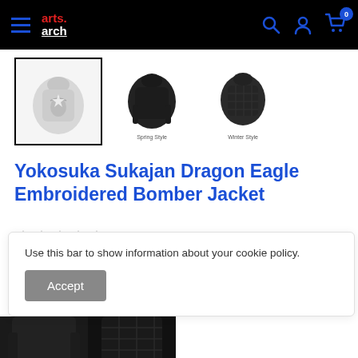arts.arch navigation header with hamburger menu, logo, search, account, and cart icons
[Figure (photo): Three product thumbnail images of a bomber jacket: first selected (light colored front), second dark jacket back labeled 'Spring Style', third dark jacket labeled 'Winter Style']
Yokosuka Sukajan Dragon Eagle Embroidered Bomber Jacket
0 reviews
Use this bar to show information about your cookie policy.
Accept
[Figure (photo): Bottom partial thumbnails of dark bomber jacket variants]